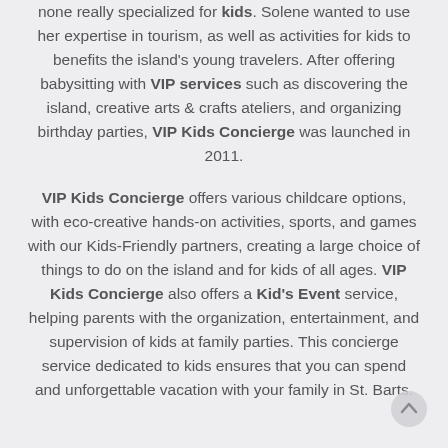none really specialized for kids. Solene wanted to use her expertise in tourism, as well as activities for kids to benefits the island's young travelers. After offering babysitting with VIP services such as discovering the island, creative arts & crafts ateliers, and organizing birthday parties, VIP Kids Concierge was launched in 2011.
VIP Kids Concierge offers various childcare options, with eco-creative hands-on activities, sports, and games with our Kids-Friendly partners, creating a large choice of things to do on the island and for kids of all ages. VIP Kids Concierge also offers a Kid's Event service, helping parents with the organization, entertainment, and supervision of kids at family parties. This concierge service dedicated to kids ensures that you can spend and unforgettable vacation with your family in St. Barts.